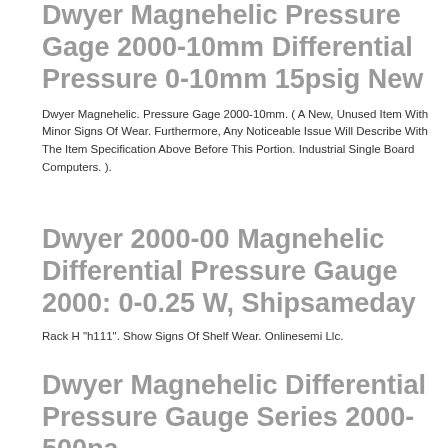Dwyer Magnehelic Pressure Gage 2000-10mm Differential Pressure 0-10mm 15psig New
Dwyer Magnehelic. Pressure Gage 2000-10mm. ( A New, Unused Item With Minor Signs Of Wear. Furthermore, Any Noticeable Issue Will Describe With The Item Specification Above Before This Portion. Industrial Single Board Computers. ).
Dwyer 2000-00 Magnehelic Differential Pressure Gauge 2000: 0-0.25 W, Shipsameday
Rack H "h111". Show Signs Of Shelf Wear. Onlinesemi Llc.
Dwyer Magnehelic Differential Pressure Gauge Series 2000-500pa